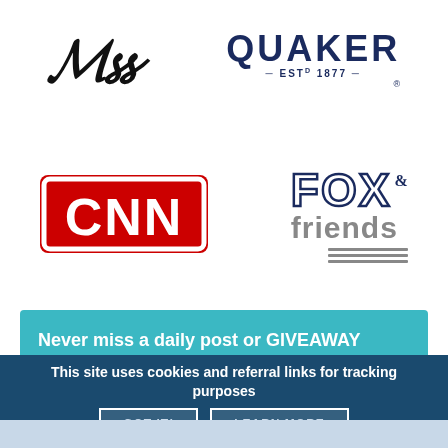[Figure (logo): Partial cursive/script MSS logo in black]
[Figure (logo): Quaker ESTD 1877 logo in navy blue]
[Figure (logo): CNN logo in red with white outline]
[Figure (logo): FOX & friends logo in navy outline and gray]
Never miss a daily post or GIVEAWAY and I'll send you this eBook FREE, too!
This site uses cookies and referral links for tracking purposes
GOT IT!
LEARN MORE